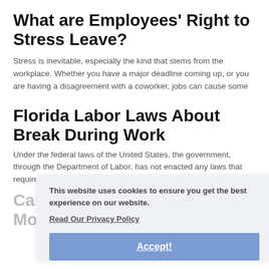What are Employees' Right to Stress Leave?
Stress is inevitable, especially the kind that stems from the workplace. Whether you have a major deadline coming up, or you are having a disagreement with a coworker, jobs can cause some
Florida Labor Laws About Break During Work
Under the federal laws of the United States, the government, through the Department of Labor, has not enacted any laws that require breaks during a work shift. There is only one regulation
This website uses cookies to ensure you get the best experience on our website.
Read Our Privacy Policy
Accept!
Can I Get Unemployment if I Move to Another State?